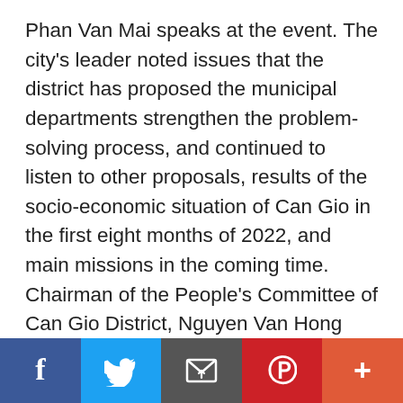Phan Van Mai speaks at the event. The city's leader noted issues that the district has proposed the municipal departments strengthen the problem-solving process, and continued to listen to other proposals, results of the socio-economic situation of Can Gio in the first eight months of 2022, and main missions in the coming time. Chairman of the People's Committee of Can Gio District, Nguyen Van Hong said that the growth of the total gross output (GO) reached 45.2 percent and the State budget collection in 2022 was 230.5 billion, up 27.4 percent compared to the target for the year and presenting an increase of 81 percent compared to the same period last year. The district has been well
[Figure (infographic): Social media sharing bar with Facebook (blue), Twitter (light blue), Email (dark grey), Pinterest (red), and More (orange-red) buttons]